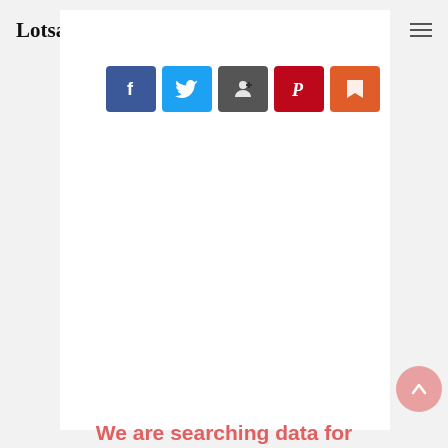Lotsawa [logo with spiral graphic] [hamburger menu]
[Figure (other): Row of five social share buttons: Facebook (blue), Twitter (light blue), Share/AddThis (dark grey), Pinterest (red), Reddit/share (orange-red)]
[Figure (other): Large white content card area (mostly blank)]
[Figure (other): Scroll-to-top button: pink/salmon circle with upward chevron arrow, bottom right corner]
We are searching data for